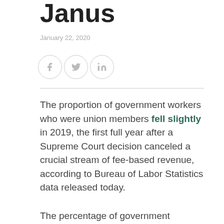Janus
January 22, 2020
[Figure (other): Social media share icons: Facebook, Twitter, LinkedIn in circular borders]
The proportion of government workers who were union members fell slightly in 2019, the first full year after a Supreme Court decision canceled a crucial stream of fee-based revenue, according to Bureau of Labor Statistics data released today.
The percentage of government